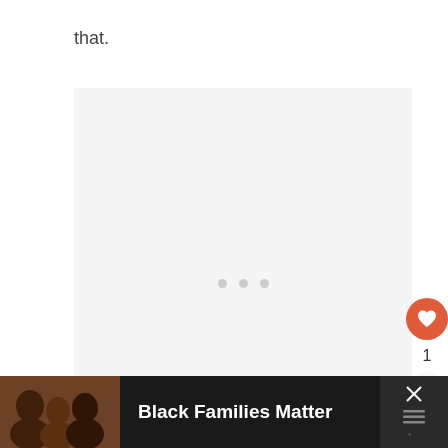that.
[Figure (photo): Large light-gray placeholder box with three small gray loading dots in the center, indicating a loading image or embedded content area]
[Figure (infographic): Like button: orange/red circle with white heart icon, count of 1 below, and a share button (circle with share icon) below that, on the right side]
[Figure (infographic): Advertisement banner at the bottom: dark background, photo of a family on the left, bold white text 'Black Families Matter', close X button on far right with a dark panel]